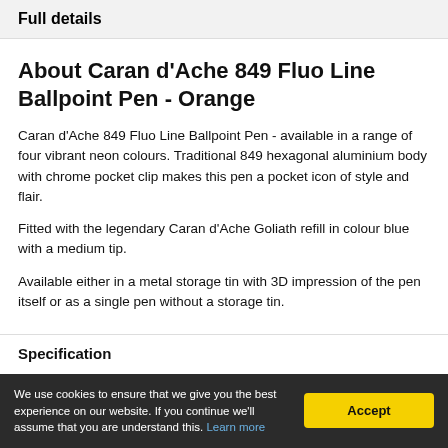Full details
About Caran d'Ache 849 Fluo Line Ballpoint Pen - Orange
Caran d'Ache 849 Fluo Line Ballpoint Pen - available in a range of four vibrant neon colours. Traditional 849 hexagonal aluminium body with chrome pocket clip makes this pen a pocket icon of style and flair.
Fitted with the legendary Caran d'Ache Goliath refill in colour blue with a medium tip.
Available either in a metal storage tin with 3D impression of the pen itself or as a single pen without a storage tin.
Specification
We use cookies to ensure that we give you the best experience on our website. If you continue we'll assume that you are understand this. Learn more